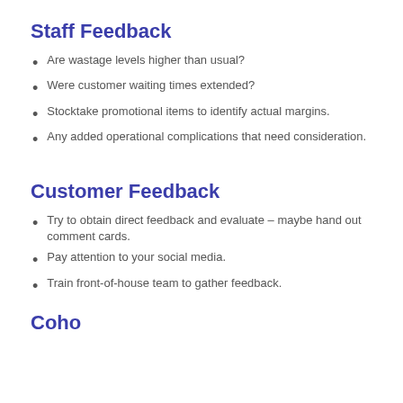Staff Feedback
Are wastage levels higher than usual?
Were customer waiting times extended?
Stocktake promotional items to identify actual margins.
Any added operational complications that need consideration.
Customer Feedback
Try to obtain direct feedback and evaluate – maybe hand out comment cards.
Pay attention to your social media.
Train front-of-house team to gather feedback.